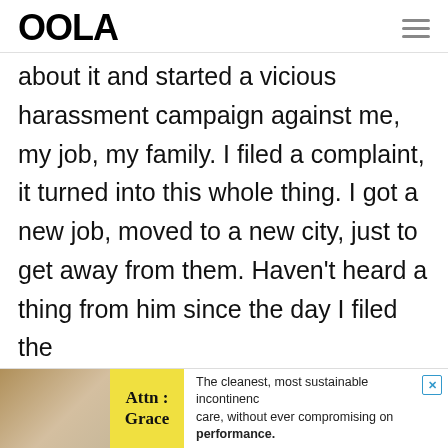OOLA
about it and started a vicious harassment campaign against me, my job, my family. I filed a complaint, it turned into this whole thing. I got a new job, moved to a new city, just to get away from them. Haven't heard a thing from him since the day I filed the
[Figure (infographic): Advertisement for Attn: Grace incontinence care products. Shows a person image on the left, a yellow brand panel with 'Attn: Grace', and ad copy reading 'The cleanest, most sustainable incontinence care, without ever compromising on performance.']